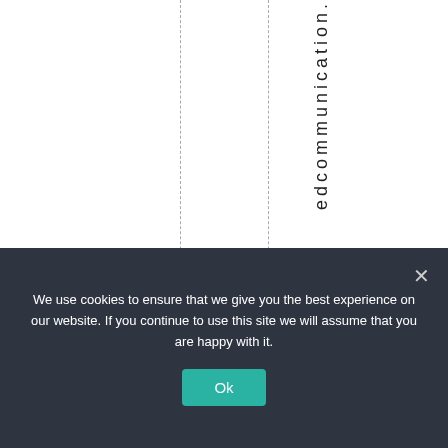edcommunication.
T
We use cookies to ensure that we give you the best experience on our website. If you continue to use this site we will assume that you are happy with it.
Ok